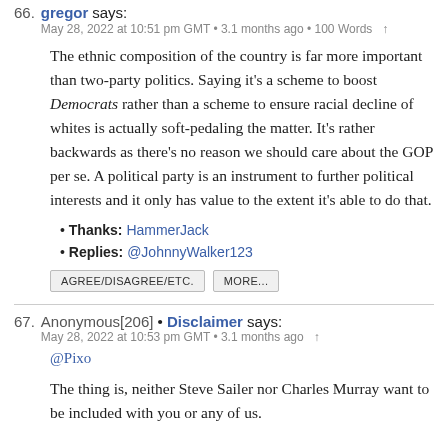66. gregor says: May 28, 2022 at 10:51 pm GMT • 3.1 months ago • 100 Words ↑
The ethnic composition of the country is far more important than two-party politics. Saying it's a scheme to boost Democrats rather than a scheme to ensure racial decline of whites is actually soft-pedaling the matter. It's rather backwards as there's no reason we should care about the GOP per se. A political party is an instrument to further political interests and it only has value to the extent it's able to do that.
• Thanks: HammerJack
• Replies: @JohnnyWalker123
AGREE/DISAGREE/ETC.   MORE...
67. Anonymous[206] • Disclaimer says: May 28, 2022 at 10:53 pm GMT • 3.1 months ago ↑
@Pixo
The thing is, neither Steve Sailer nor Charles Murray want to be included with you or any of us.